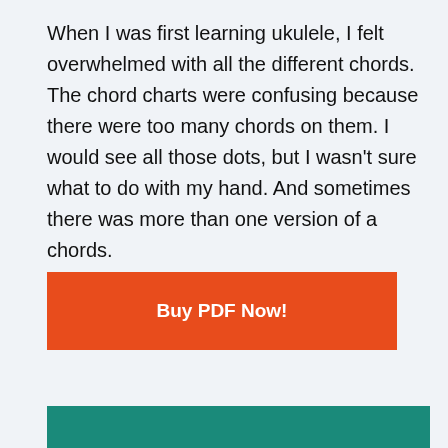When I was first learning ukulele, I felt overwhelmed with all the different chords. The chord charts were confusing because there were too many chords on them. I would see all those dots, but I wasn't sure what to do with my hand. And sometimes there was more than one version of a chords.
Buy PDF Now!